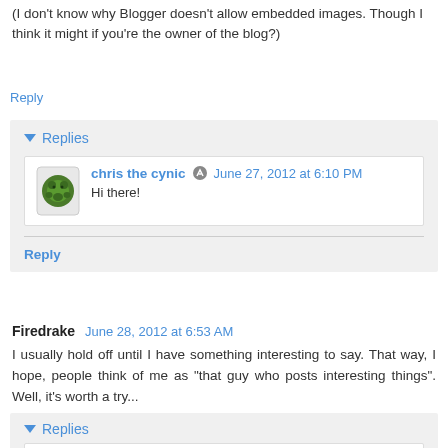(I don't know why Blogger doesn't allow embedded images. Though I think it might if you're the owner of the blog?)
Reply
Replies
chris the cynic — June 27, 2012 at 6:10 PM
Hi there!
Reply
Firedrake — June 28, 2012 at 6:53 AM
I usually hold off until I have something interesting to say. That way, I hope, people think of me as "that guy who posts interesting things". Well, it's worth a try...
Reply
Replies
chris the cynic — June 28, 2012 at 8:11 AM